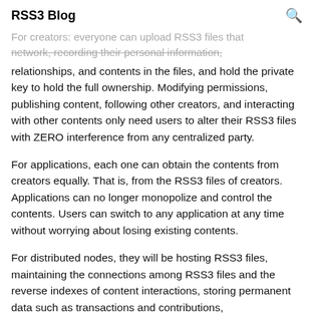RSS3 Blog
For creators: everyone can upload RSS3 files that network, recording their personal information, relationships, and contents in the files, and hold the private key to hold the full ownership. Modifying permissions, publishing content, following other creators, and interacting with other contents only need users to alter their RSS3 files with ZERO interference from any centralized party.
For applications, each one can obtain the contents from creators equally. That is, from the RSS3 files of creators. Applications can no longer monopolize and control the contents. Users can switch to any application at any time without worrying about losing existing contents.
For distributed nodes, they will be hosting RSS3 files, maintaining the connections among RSS3 files and the reverse indexes of content interactions, storing permanent data such as transactions and contributions,